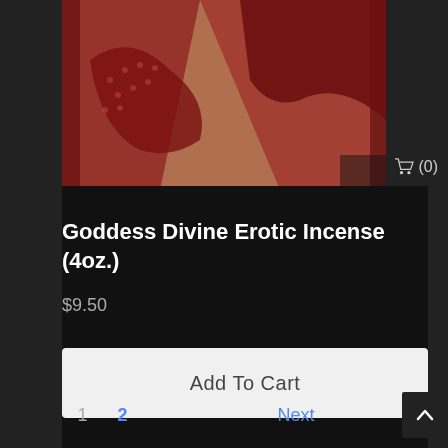[Figure (photo): Cropped product image showing a woman in red/orange decorative clothing or costume, top portion visible against dark background]
Goddess Divine Erotic Incense (4oz.)
$9.50
Add To Cart
1  2  Next